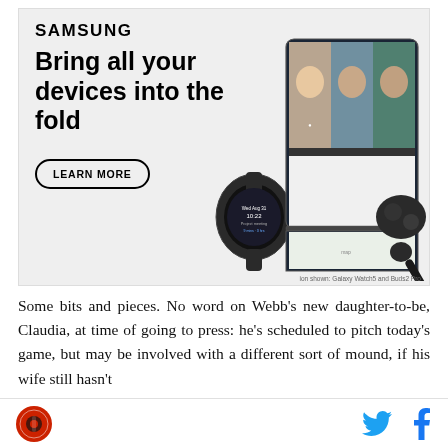[Figure (illustration): Samsung advertisement showing Galaxy devices including a smartwatch, Galaxy Z Fold phone with video call, and Galaxy Buds earbuds. Text reads 'SAMSUNG' and 'Bring all your devices into the fold' with a 'LEARN MORE' button. Fine print: 'ion shown: Galaxy Watch5 and Buds2 Pro']
Some bits and pieces. No word on Webb's new daughter-to-be, Claudia, at time of going to press: he's scheduled to pitch today's game, but may be involved with a different sort of mound, if his wife still hasn't